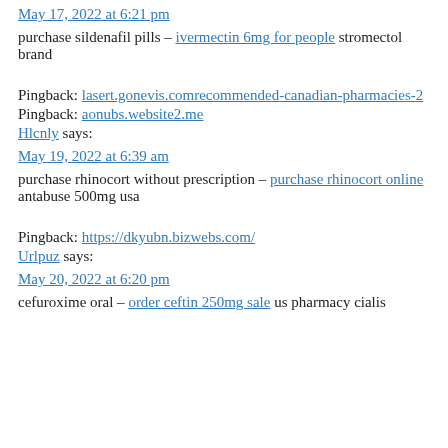May 17, 2022 at 6:21 pm
purchase sildenafil pills – ivermectin 6mg for people stromectol brand
Pingback: lasert.gonevis.comrecommended-canadian-pharmacies-2
Pingback: aonubs.website2.me
Hlcnly says:
May 19, 2022 at 6:39 am
purchase rhinocort without prescription – purchase rhinocort online antabuse 500mg usa
Pingback: https://dkyubn.bizwebs.com/
Urlpuz says:
May 20, 2022 at 6:20 pm
cefuroxime oral – order ceftin 250mg sale us pharmacy cialis